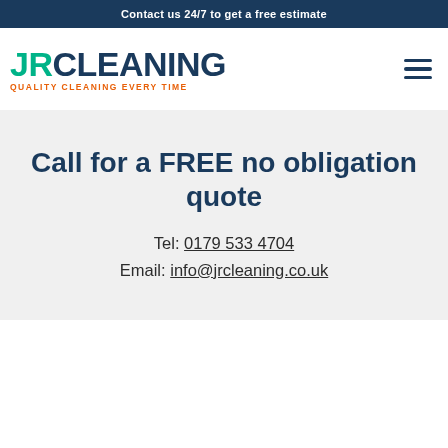Contact us 24/7 to get a free estimate
[Figure (logo): JR Cleaning logo with tagline QUALITY CLEANING EVERY TIME]
Call for a FREE no obligation quote
Tel: 0179 533 4704
Email: info@jrcleaning.co.uk